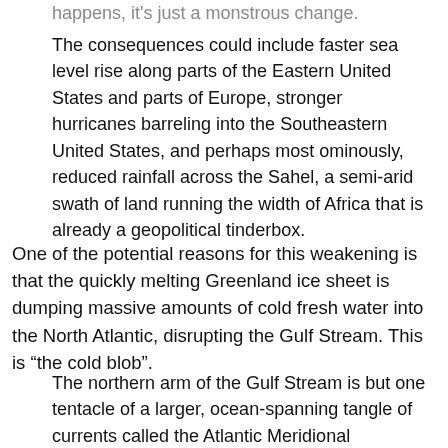happens, it's just a monstrous change.
The consequences could include faster sea level rise along parts of the Eastern United States and parts of Europe, stronger hurricanes barreling into the Southeastern United States, and perhaps most ominously, reduced rainfall across the Sahel, a semi-arid swath of land running the width of Africa that is already a geopolitical tinderbox.
One of the potential reasons for this weakening is that the quickly melting Greenland ice sheet is dumping massive amounts of cold fresh water into the North Atlantic, disrupting the Gulf Stream. This is “the cold blob”.
The northern arm of the Gulf Stream is but one tentacle of a larger, ocean-spanning tangle of currents called the Atlantic Meridional Overturning